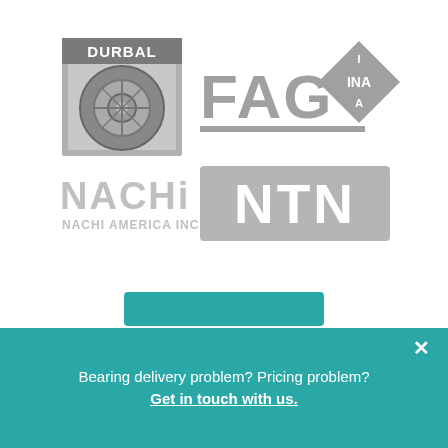[Figure (logo): Five brand logos displayed in grayscale: DURBAL (bearing logo with circular design and text), FAG (large bold sans-serif text with underline), INA (diamond shape with letters I, INA, A), NACHI / NACHI AMERICA INC. (sans-serif text), NTN (bold sans-serif in rectangular border)]
[Figure (other): Teal/turquoise rectangular button partially visible at bottom of white area]
Bearing delivery problem? Pricing problem? Get in touch with us.